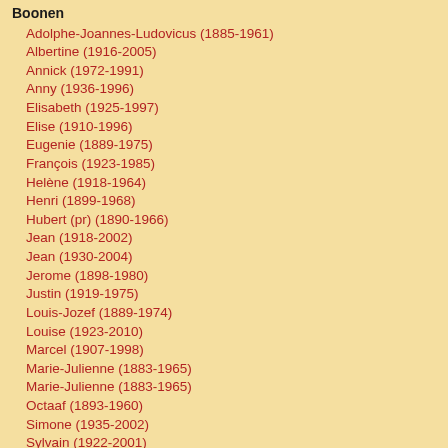Boonen
Adolphe-Joannes-Ludovicus (1885-1961)
Albertine (1916-2005)
Annick (1972-1991)
Anny (1936-1996)
Elisabeth (1925-1997)
Elise (1910-1996)
Eugenie (1889-1975)
François (1923-1985)
Helène (1918-1964)
Henri (1899-1968)
Hubert (pr) (1890-1966)
Jean (1918-2002)
Jean (1930-2004)
Jerome (1898-1980)
Justin (1919-1975)
Louis-Jozef (1889-1974)
Louise (1923-2010)
Marcel (1907-1998)
Marie-Julienne (1883-1965)
Marie-Julienne (1883-1965)
Octaaf (1893-1960)
Simone (1935-2002)
Sylvain (1922-2001)
Theo (1911-1984)
Thérèse (1892-1971)
Yvonne (1922-1988)
Boonstra